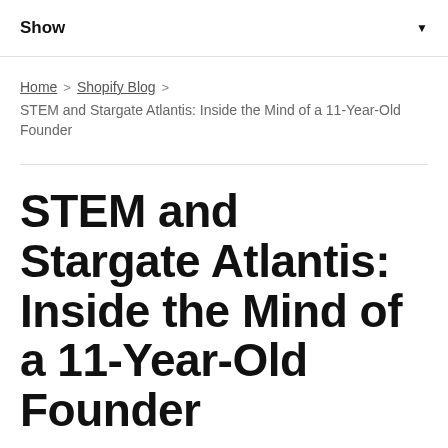Show
Home > Shopify Blog > STEM and Stargate Atlantis: Inside the Mind of a 11-Year-Old Founder
STEM and Stargate Atlantis: Inside the Mind of a 11-Year-Old Founder